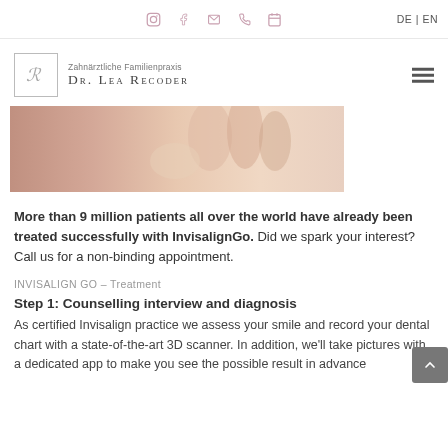DE | EN (with social icons: Instagram, Facebook, Email, Phone, Calendar)
[Figure (logo): Dr. Lea Recoder dental practice logo with stylized LR monogram]
[Figure (photo): Close-up photo of a person holding an Invisalign aligner between fingers]
More than 9 million patients all over the world have already been treated successfully with InvisalignGo. Did we spark your interest? Call us for a non-binding appointment.
INVISALIGN GO – Treatment
Step 1: Counselling interview and diagnosis
As certified Invisalign practice we assess your smile and record your dental chart with a state-of-the-art 3D scanner. In addition, we'll take pictures with a dedicated app to make you see the possible result in advance